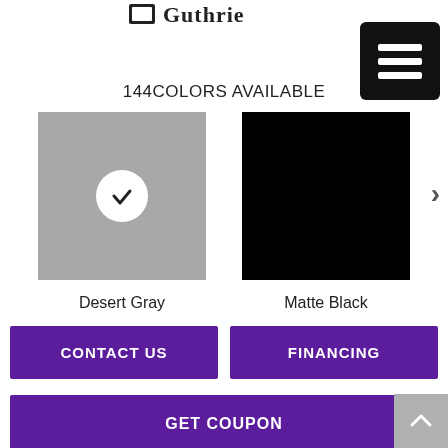[Figure (logo): Guttle brand logo at top center]
[Figure (other): Black menu/hamburger icon button in top right]
144COLORS AVAILABLE
[Figure (other): Desert Gray color swatch (gray square with white checkmark circle) labeled Desert Gray]
[Figure (other): Matte Black color swatch (black square) labeled Matte Black]
[Figure (other): Right arrow chevron for more swatches]
CONTACT US
FINANCING
GET COUPON